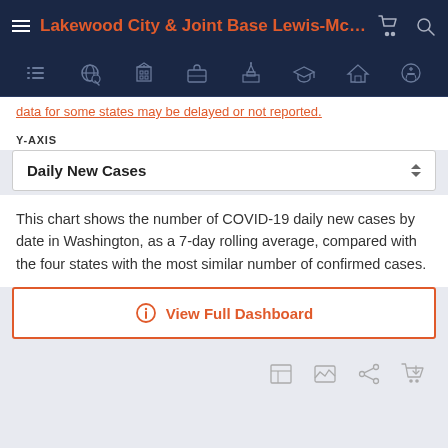Lakewood City & Joint Base Lewis-McChor...
data for some states may be delayed or not reported.
Y-AXIS
Daily New Cases
This chart shows the number of COVID-19 daily new cases by date in Washington, as a 7-day rolling average, compared with the four states with the most similar number of confirmed cases.
View Full Dashboard